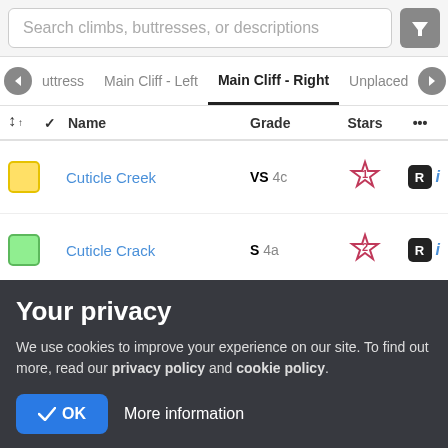Search climbs, buttresses, or descriptions
uttress   Main Cliff - Left   Main Cliff - Right   Unplaced
|  | ✓ | Name | Grade | Stars | ... |
| --- | --- | --- | --- | --- | --- |
| yellow |  | Cuticle Creek | VS 4c | ★1 | R i |
| green |  | Cuticle Crack | S 4a | ★2 | R i |
| pink |  | Turbo | E2 5c | ★1 | i |
Your privacy
We use cookies to improve your experience on our site. To find out more, read our privacy policy and cookie policy.
✓ OK   More information